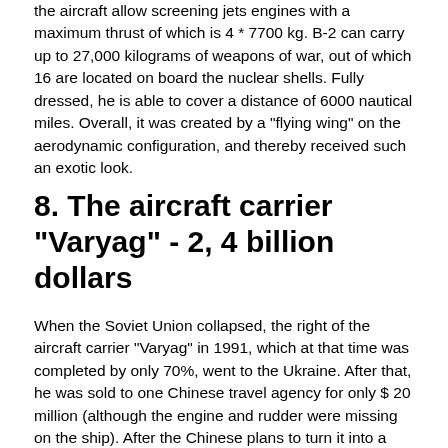the aircraft allow screening jets engines with a maximum thrust of which is 4 * 7700 kg. B-2 can carry up to 27,000 kilograms of weapons of war, out of which 16 are located on board the nuclear shells. Fully dressed, he is able to cover a distance of 6000 nautical miles. Overall, it was created by a "flying wing" on the aerodynamic configuration, and thereby received such an exotic look.
8. The aircraft carrier "Varyag" - 2, 4 billion dollars
When the Soviet Union collapsed, the right of the aircraft carrier "Varyag" in 1991, which at that time was completed by only 70%, went to the Ukraine. After that, he was sold to one Chinese travel agency for only $ 20 million (although the engine and rudder were missing on the ship). After the Chinese plans to turn it into a floating luxury hotel is failed,